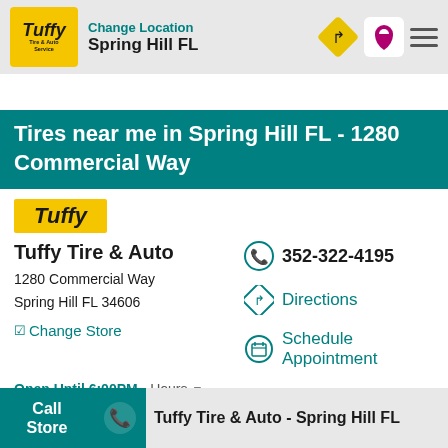[Figure (screenshot): Tuffy Tire & Auto Service logo in yellow box]
Change Location
Spring Hill FL
[Figure (logo): Navigation icons: direction diamond, map pin, hamburger menu]
Tires near me in Spring Hill FL - 1280 Commercial Way
[Figure (logo): Tuffy yellow badge logo]
Tuffy Tire & Auto
1280 Commercial Way
Spring Hill FL 34606
☑Change Store
352-322-4195
Directions
Schedule Appointment
Open Until 6:00PM - Hours ▼
Call Store
Tuffy Tire & Auto - Spring Hill FL